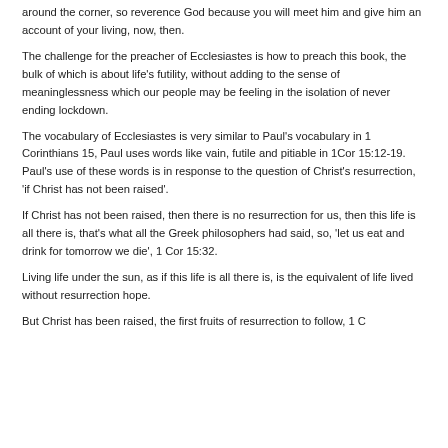around the corner, so reverence God because you will meet him and give him an account of your living, now, then.
The challenge for the preacher of Ecclesiastes is how to preach this book, the bulk of which is about life's futility, without adding to the sense of meaninglessness which our people may be feeling in the isolation of never ending lockdown.
The vocabulary of Ecclesiastes is very similar to Paul's vocabulary in 1 Corinthians 15, Paul uses words like vain, futile and pitiable in 1Cor 15:12-19. Paul's use of these words is in response to the question of Christ's resurrection, 'if Christ has not been raised'.
If Christ has not been raised, then there is no resurrection for us, then this life is all there is, that's what all the Greek philosophers had said, so, 'let us eat and drink for tomorrow we die', 1 Cor 15:32.
Living life under the sun, as if this life is all there is, is the equivalent of life lived without resurrection hope.
But Christ has been raised, the first fruits of resurrection to follow, 1 C...